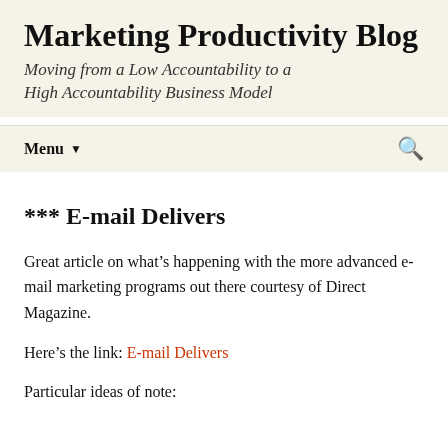Marketing Productivity Blog
Moving from a Low Accountability to a High Accountability Business Model
Menu ▾
*** E-mail Delivers
Great article on what's happening with the more advanced e-mail marketing programs out there courtesy of Direct Magazine.
Here's the link: E-mail Delivers
Particular ideas of note: